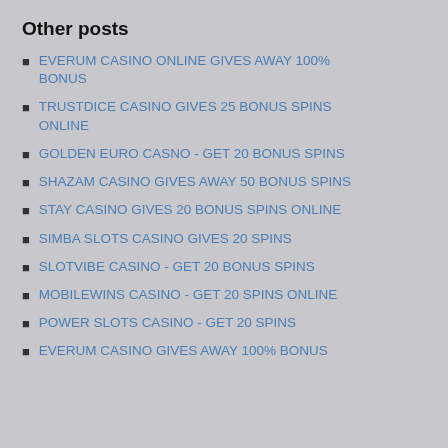Other posts
EVERUM CASINO ONLINE GIVES AWAY 100% BONUS
TRUSTDICE CASINO GIVES 25 BONUS SPINS ONLINE
GOLDEN EURO CASNO - GET 20 BONUS SPINS
SHAZAM CASINO GIVES AWAY 50 BONUS SPINS
STAY CASINO GIVES 20 BONUS SPINS ONLINE
SIMBA SLOTS CASINO GIVES 20 SPINS
SLOTVIBE CASINO - GET 20 BONUS SPINS
MOBILEWINS CASINO - GET 20 SPINS ONLINE
POWER SLOTS CASINO - GET 20 SPINS
EVERUM CASINO GIVES AWAY 100% BONUS